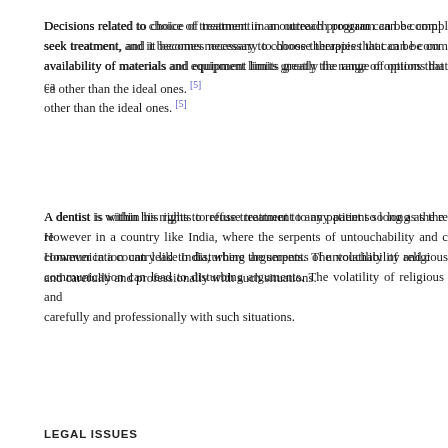Decisions related to choice of treatment in an outreach program can be complex. Patients are not easily persuaded to seek treatment, and it becomes necessary to choose therapies that can be completed in a single sitting. The limited availability of materials and equipment limits greatly the range of options that can be offered. These are other than the ideal ones. [5]
A dentist is within his rights to refuse treatment to any patient so long as the refusal is not based on discrimination. However in a country like India, where the serpents of untouchability and casteism still raise their heads, miscommunication can lead to disturbing arguments. The volatility of religious and caste tensions demands that dentists deal carefully and professionally with such situations.
[Figure (screenshot): Cookie consent banner overlay with text: 'This website uses cookies. By continuing to use this website you are giving consent to cookies being used. For information on cookies and how you can disable them visit our Privacy and Cookie Policy.' with a red 'AGREE & PROCEED' button.]
...s the dictum... ...sent, medical... ...considered... ...nature and... ...family head... ...often the fa... ...femace' health, which makes the consent a debatable issue.